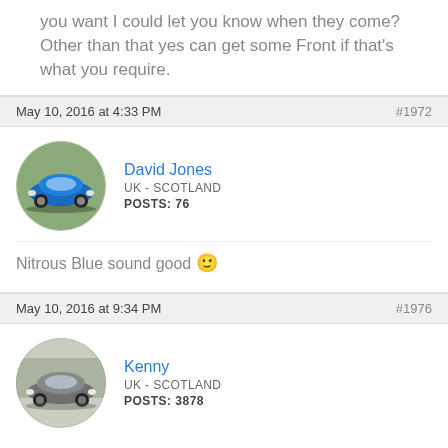you want I could let you know when they come? Other than that yes can get some Front if that's what you require.
May 10, 2016 at 4:33 PM   #1972
[Figure (photo): Circular avatar showing a blue Ford Focus RS car]
David Jones
UK - SCOTLAND
POSTS: 76
Nitrous Blue sound good 🙂
May 10, 2016 at 9:34 PM   #1976
[Figure (photo): Circular avatar showing a grey/silver car]
Kenny
UK - SCOTLAND
POSTS: 3878